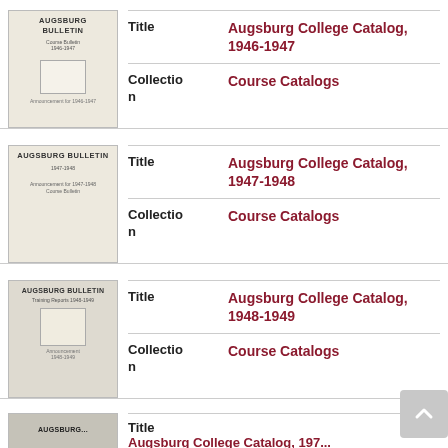[Figure (photo): Thumbnail cover of Augsburg Bulletin 1946-1947 catalog booklet]
| Field | Value |
| --- | --- |
| Title | Augsburg College Catalog, 1946-1947 |
| Collection | Course Catalogs |
[Figure (photo): Thumbnail cover of Augsburg Bulletin 1947-1948 catalog booklet]
| Field | Value |
| --- | --- |
| Title | Augsburg College Catalog, 1947-1948 |
| Collection | Course Catalogs |
[Figure (photo): Thumbnail cover of Augsburg Bulletin 1948-1949 catalog booklet]
| Field | Value |
| --- | --- |
| Title | Augsburg College Catalog, 1948-1949 |
| Collection | Course Catalogs |
[Figure (photo): Partial thumbnail cover of next catalog entry at bottom of page]
Title
Augsburg College Catalog, 197...